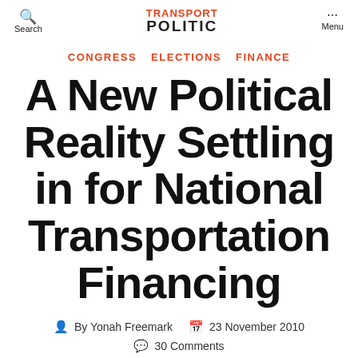Search | TRANSPORT POLITIC | Menu
CONGRESS  ELECTIONS  FINANCE
A New Political Reality Settling in for National Transportation Financing
By Yonah Freemark  23 November 2010
30 Comments